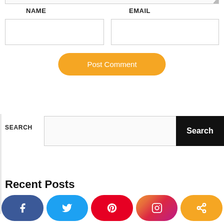NAME
EMAIL
Post Comment
SEARCH
Search
Recent Posts
[Figure (screenshot): Social media share buttons: Facebook, Twitter, Pinterest, Instagram, Share]